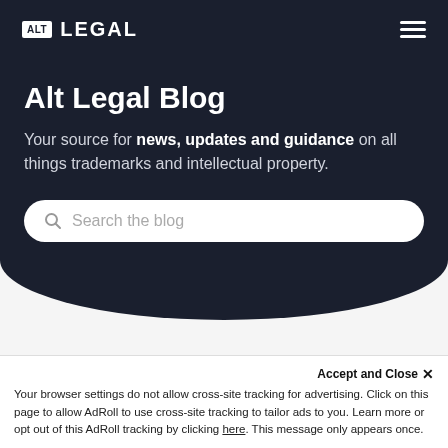ALT LEGAL
Alt Legal Blog
Your source for news, updates and guidance on all things trademarks and intellectual property.
Search the blog
Accept and Close ✕
Your browser settings do not allow cross-site tracking for advertising. Click on this page to allow AdRoll to use cross-site tracking to tailor ads to you. Learn more or opt out of this AdRoll tracking by clicking here. This message only appears once.